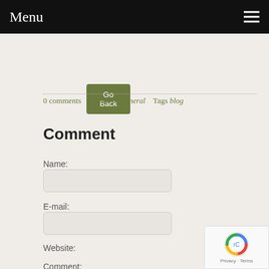Menu
Go Back
0 comments   Posted in General   Tags blog
Comment
Name:
E-mail:
Website:
Comment: